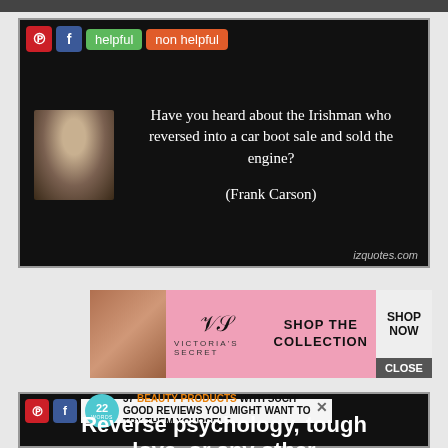[Figure (screenshot): Dark screenshot top bar]
[Figure (screenshot): Quote card with black background featuring Frank Carson quote: Have you heard about the Irishman who reversed into a car boot sale and sold the engine? (Frank Carson). Social share buttons (Pinterest, Facebook), helpful/non helpful buttons, izquotes.com watermark.]
[Figure (screenshot): Victoria's Secret advertisement banner: Shop The Collection, Shop Now, Close button.]
[Figure (screenshot): 22 Words advertisement: 37 BEAUTY PRODUCTS WITH SUCH GOOD REVIEWS YOU MIGHT WANT TO TRY THEM YOURSELF, with close X button.]
Reverse psychology, tough love, or any other